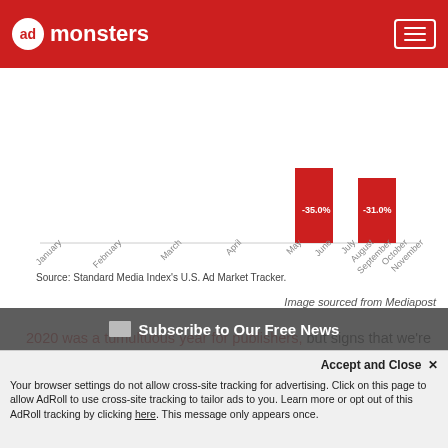admonsters
[Figure (bar-chart): Partial bar chart showing negative ad spend percentages, with April bar labeled -35.0% and May bar labeled -31.0%, and x-axis labels for months January through November]
Source: Standard Media Index's U.S. Ad Market Tracker.
Image sourced from Mediapost
2020 was a tumultuous year for publishers, but signs that we're rebounding couldn't be more clear.
For instance, just take a look at this U.S. Ad Market Tracker, a collaboration between MediaPost and Standard Media Index based on total ad spending by the major agency holding companies.
You'll note a steady growth over a period of four months, starting in August, that came after a precipitous decline in ad spend starting in March, fueled by the impact of Coronavirus. Overall, digital has
Subscribe to Our Free News
Your browser settings do not allow cross-site tracking for advertising. Click on this page to allow AdRoll to use cross-site tracking to tailor ads to you. Learn more or opt out of this AdRoll tracking by clicking here. This message only appears once.